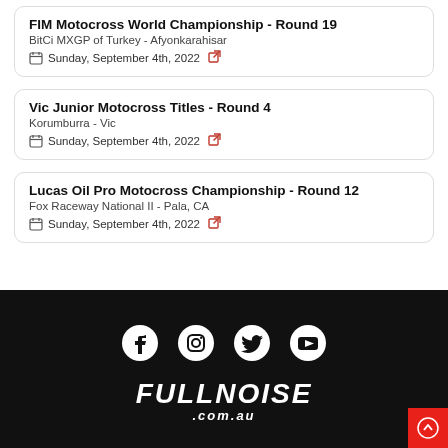FIM Motocross World Championship - Round 19
BitCi MXGP of Turkey - Afyonkarahisar
Sunday, September 4th, 2022
Vic Junior Motocross Titles - Round 4
Korumburra - Vic
Sunday, September 4th, 2022
Lucas Oil Pro Motocross Championship - Round 12
Fox Raceway National II - Pala, CA
Sunday, September 4th, 2022
[Figure (logo): Social media icons: Facebook, Instagram, Twitter, YouTube]
[Figure (logo): FullNoise.com.au logo in white italic bold text on black background]